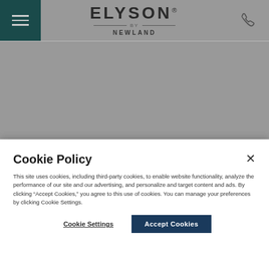[Figure (logo): Elyson by Newland logo with hamburger menu icon on the left and phone icon on the right in a website header bar]
ARCHIVE
Cookie Policy
This site uses cookies, including third-party cookies, to enable website functionality, analyze the performance of our site and our advertising, and personalize and target content and ads. By clicking "Accept Cookies," you agree to this use of cookies. You can manage your preferences by clicking Cookie Settings.
Cookie Settings
Accept Cookies